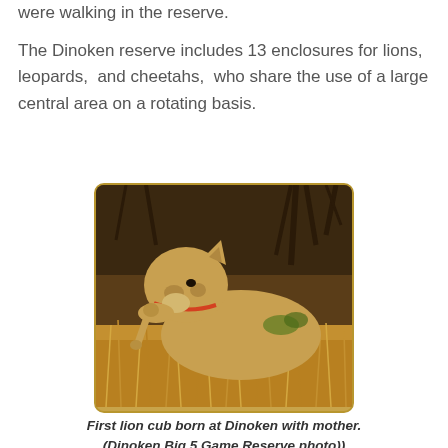were walking in the reserve.
The Dinoken reserve includes 13 enclosures for lions,  leopards,  and cheetahs,  who share the use of a large central area on a rotating basis.
[Figure (photo): A lioness carrying a cub in her mouth while standing in dry savanna grass and thorn bushes. The lioness wears an orange collar.]
First lion cub born at Dinoken with mother. (Dinoken Big 5 Game Reserve photo))